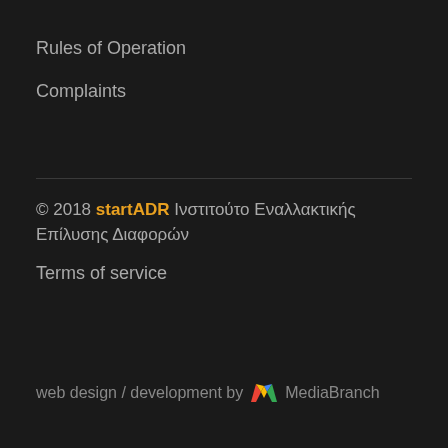Rules of Operation
Complaints
© 2018 startADR Ινστιτούτο Εναλλακτικής Επίλυσης Διαφορών
Terms of service
web design / development by MediaBranch